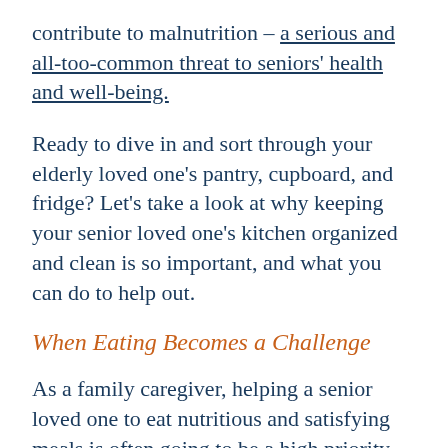contribute to malnutrition – a serious and all-too-common threat to seniors' health and well-being.
Ready to dive in and sort through your elderly loved one's pantry, cupboard, and fridge? Let's take a look at why keeping your senior loved one's kitchen organized and clean is so important, and what you can do to help out.
When Eating Becomes a Challenge
As a family caregiver, helping a senior loved one to eat nutritious and satisfying meals is often going to be a high priority and a fact of the...